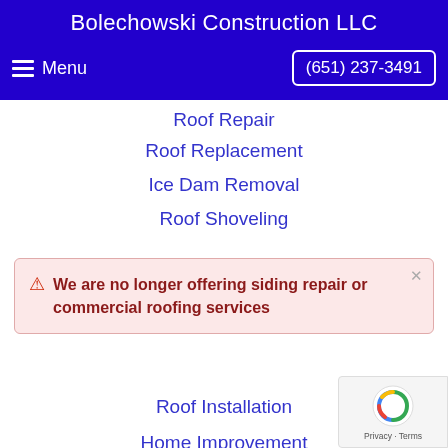Bolechowski Construction LLC
Menu   (651) 237-3491
Roof Repair
Roof Replacement
Ice Dam Removal
Roof Shoveling
We are no longer offering siding repair or commercial roofing services
Roof Installation
Home Improvement
Metal Roofs
Roof Vents
Vinyl Siding
Aluminum Siding